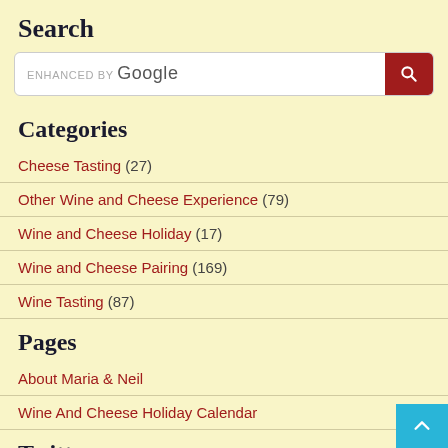Search
[Figure (screenshot): Google search bar with magnifying glass button on dark red background]
Categories
Cheese Tasting (27)
Other Wine and Cheese Experience (79)
Wine and Cheese Holiday (17)
Wine and Cheese Pairing (169)
Wine Tasting (87)
Pages
About Maria & Neil
Wine And Cheese Holiday Calendar
Twitter